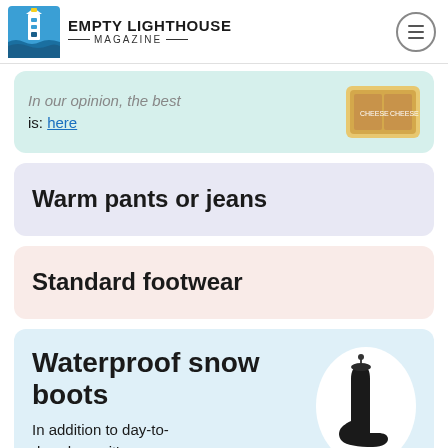EMPTY LIGHTHOUSE MAGAZINE
In our opinion, the best is: here
Warm pants or jeans
Standard footwear
Waterproof snow boots — In addition to day-to-day shoes, it's